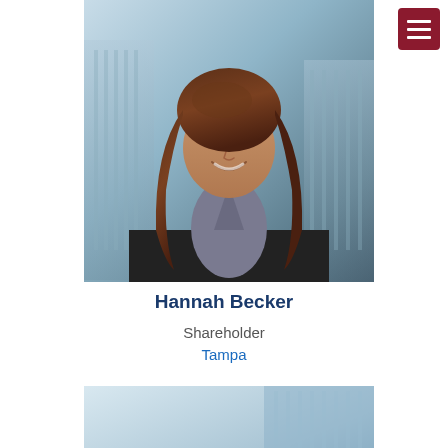[Figure (photo): Professional headshot of Hannah Becker, a woman with long brown hair wearing a black blazer and grey top, photographed in front of a city building backdrop]
Hannah Becker
Shareholder
Tampa
[Figure (photo): Partial professional headshot of a second person, partially visible at the bottom of the page]